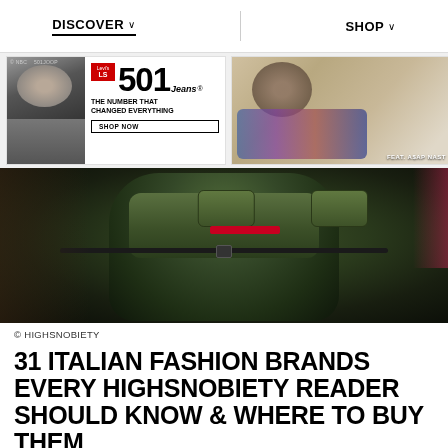DISCOVER ∨   SHOP ∨
[Figure (photo): Levi's 501 Jeans advertisement banner with black-and-white photo on left and ASAP Nast fashion photo on right. Text reads: THE NUMBER THAT CHANGED EVERYTHING, SHOP NOW. Feat. ASAP NAST.]
[Figure (photo): Hero image of a person wearing an olive/dark green utility jacket with multiple pockets and straps, dark background, slight pink accent on right side.]
© HIGHSNOBIETY
31 ITALIAN FASHION BRANDS EVERY HIGHSNOBIETY READER SHOULD KNOW & WHERE TO BUY THEM